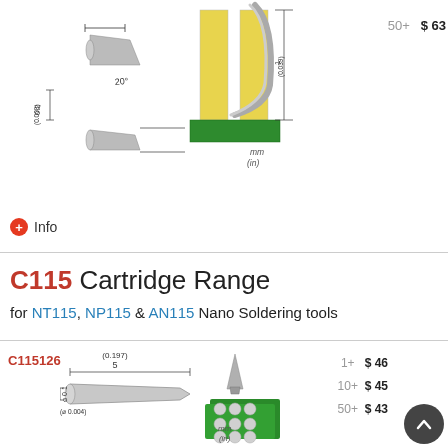[Figure (engineering-diagram): Technical drawing of a soldering tip showing 0.2mm (0.008in) width at 20 degree angle, with side-view of tip application on PCB pads. Top portion of product page.]
50+   $ 63
Info
C115 Cartridge Range
for NT115, NP115 & AN115 Nano Soldering tools
C115126
[Figure (engineering-diagram): Technical drawing of a pointed soldering cartridge tip with dimensions: 5mm (0.197in) length, 0.1mm (0.004in) diameter tip. Also shows 3D rendering of tip being used on a green PCB with solder balls.]
1+   $ 46
10+   $ 45
50+   $ 43